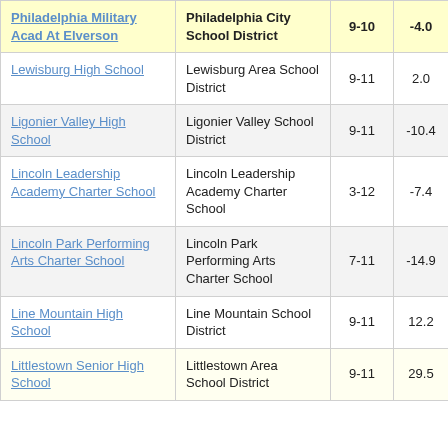| School | District | Grades | Change |  |
| --- | --- | --- | --- | --- |
| Philadelphia Military Acad At Elverson | Philadelphia City School District | 9-10 | -4.0 |  |
| Lewisburg High School | Lewisburg Area School District | 9-11 | 2.0 |  |
| Ligonier Valley High School | Ligonier Valley School District | 9-11 | -10.4 |  |
| Lincoln Leadership Academy Charter School | Lincoln Leadership Academy Charter School | 3-12 | -7.4 |  |
| Lincoln Park Performing Arts Charter School | Lincoln Park Performing Arts Charter School | 7-11 | -14.9 |  |
| Line Mountain High School | Line Mountain School District | 9-11 | 12.2 |  |
| Littlestown Senior High School | Littlestown Area School District | 9-11 | 29.5 |  |